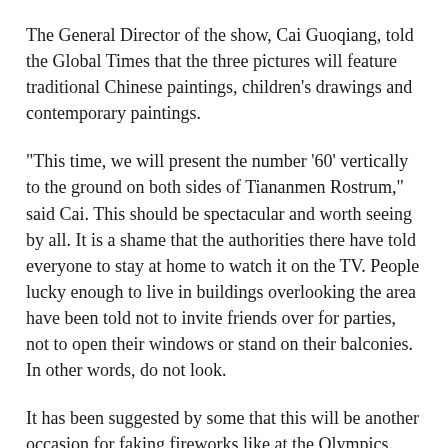The General Director of the show, Cai Guoqiang, told the Global Times that the three pictures will feature traditional Chinese paintings, children's drawings and contemporary paintings.
"This time, we will present the number '60' vertically to the ground on both sides of Tiananmen Rostrum," said Cai. This should be spectacular and worth seeing by all. It is a shame that the authorities there have told everyone to stay at home to watch it on the TV. People lucky enough to live in buildings overlooking the area have been told not to invite friends over for parties, not to open their windows or stand on their balconies. In other words, do not look.
It has been suggested by some that this will be another occasion for faking fireworks like at the Olympics. The old "look the other way people and we will just stick it on the telly using CGI" routine.